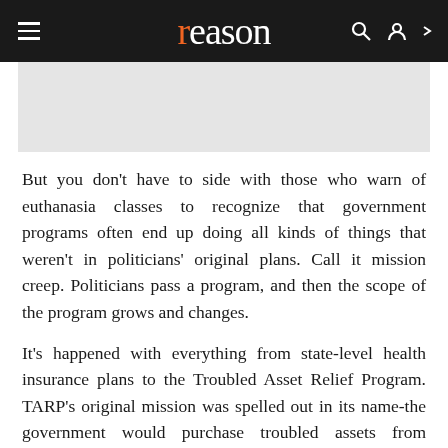reason
[Figure (other): Gray placeholder image area]
But you don't have to side with those who warn of euthanasia classes to recognize that government programs often end up doing all kinds of things that weren't in politicians' original plans. Call it mission creep. Politicians pass a program, and then the scope of the program grows and changes.
It's happened with everything from state-level health insurance plans to the Troubled Asset Relief Program. TARP's original mission was spelled out in its name-the government would purchase troubled assets from financial institutions. However, just over a year later TARP's mission has exploded, and billions in TARP funds have